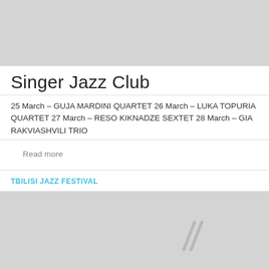[Figure (other): Gray banner/header image area at top of page]
Singer Jazz Club
25 March – GUJA MARDINI QUARTET 26 March – LUKA TOPURIA QUARTET 27 March – RESO KIKNADZE SEXTET 28 March – GIA RAKVIASHVILI TRIO
Read more
TBILISI JAZZ FESTIVAL
[Figure (other): Gray section at bottom of page with faint double-slash logo watermark]